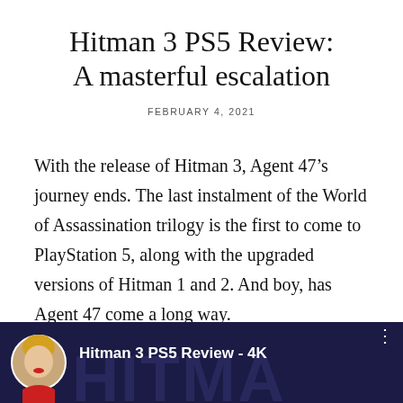Hitman 3 PS5 Review: A masterful escalation
FEBRUARY 4, 2021
With the release of Hitman 3, Agent 47’s journey ends. The last instalment of the World of Assassination trilogy is the first to come to PlayStation 5, along with the upgraded versions of Hitman 1 and 2. And boy, has Agent 47 come a long way.
[Figure (screenshot): Video thumbnail showing a woman presenter with the label 'Hitman 3 PS5 Review - 4K' over a dark blue background with large stylized text]